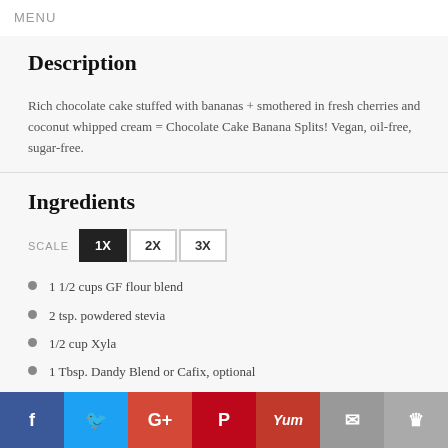MENU
Description
Rich chocolate cake stuffed with bananas + smothered in fresh cherries and coconut whipped cream = Chocolate Cake Banana Splits! Vegan, oil-free, sugar-free.
Ingredients
SCALE 1X 2X 3X
1 1/2 cups GF flour blend
2 tsp. powdered stevia
1/2 cup Xyla
1 Tbsp. Dandy Blend or Cafix, optional
1 cup unsweetened cocoa (I recommend King